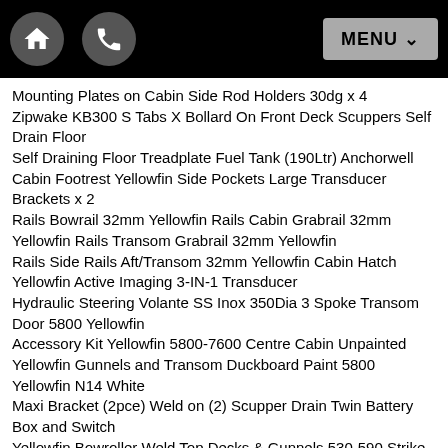Home | Phone | MENU
Mounting Plates on Cabin Side Rod Holders 30dg x 4
Zipwake KB300 S Tabs X Bollard On Front Deck Scuppers Self Drain Floor
Self Draining Floor Treadplate Fuel Tank (190Ltr) Anchorwell
Cabin Footrest Yellowfin Side Pockets Large Transducer Brackets x 2
Rails Bowrail 32mm Yellowfin Rails Cabin Grabrail 32mm Yellowfin Rails Transom Grabrail 32mm Yellowfin
Rails Side Rails Aft/Transom 32mm Yellowfin Cabin Hatch Yellowfin Active Imaging 3-IN-1 Transducer
Hydraulic Steering Volante SS Inox 350Dia 3 Spoke Transom Door 5800 Yellowfin
Accessory Kit Yellowfin 5800-7600 Centre Cabin Unpainted Yellowfin Gunnels and Transom Duckboard Paint 5800 Yellowfin N14 White
Maxi Bracket (2pce) Weld on (2) Scupper Drain Twin Battery Box and Switch
Yellowfin Bowroller Weld Top Decks & Gunnels 530-590 Strike Chair & Storage Box 5800 Yellowfin Cen Cabin